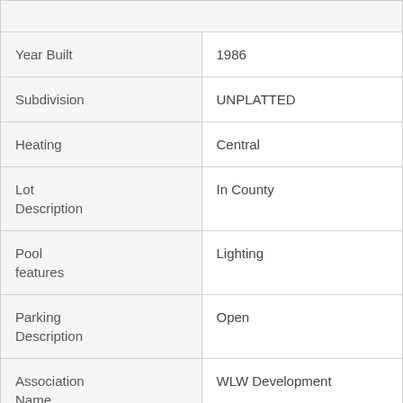| Year Built | 1986 |
| Subdivision | UNPLATTED |
| Heating | Central |
| Lot Description | In County |
| Pool features | Lighting |
| Parking Description | Open |
| Association Name | WLW Development |
| GEOGRAPHIC DATA |  |